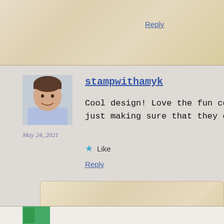Reply
stampwithamyk
Cool design! Love the fun colors. Ha! Poor W just making sure that they didn't lose him o
May 24, 2021
Like
Reply
stampsnlingers
Well – it worked!! Easy to keep track ot
May 24, 2021
Like
Reply